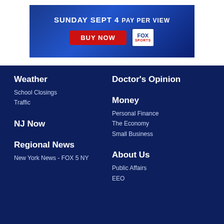[Figure (infographic): Fox Sports Pay Per View advertisement banner for Sunday Sept 4 with red BUY NOW button and Fox Sports logo on blue background]
Weather
School Closings
Traffic
Doctor's Opinion
NJ Now
Money
Personal Finance
The Economy
Small Business
Regional News
New York News - FOX 5 NY
About Us
Public Affairs
EEO